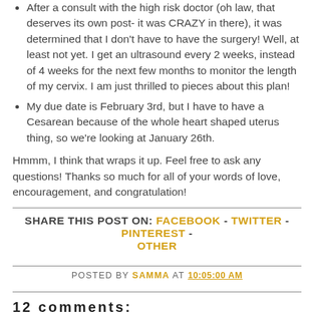After a consult with the high risk doctor (oh law, that deserves its own post- it was CRAZY in there), it was determined that I don't have to have the surgery! Well, at least not yet. I get an ultrasound every 2 weeks, instead of 4 weeks for the next few months to monitor the length of my cervix. I am just thrilled to pieces about this plan!
My due date is February 3rd, but I have to have a Cesarean because of the whole heart shaped uterus thing, so we're looking at January 26th.
Hmmm, I think that wraps it up. Feel free to ask any questions! Thanks so much for all of your words of love, encouragement, and congratulation!
SHARE THIS POST ON: FACEBOOK - TWITTER - PINTEREST - OTHER
POSTED BY SAMMA AT 10:05:00 AM
12 comments: